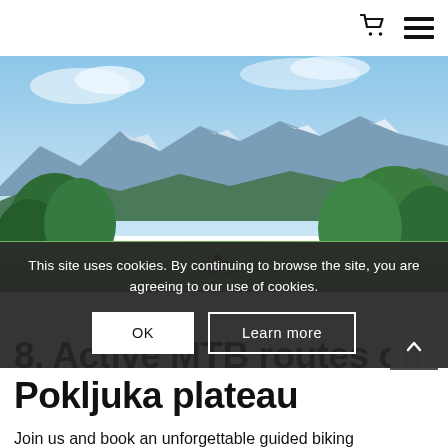[Figure (photo): Panoramic mountain landscape with green meadow in the foreground, dense trees on the sides, snow-capped peaks in the background under a blue sky. A lone cyclist is visible in the meadow.]
This site uses cookies. By continuing to browse the site, you are agreeing to our use of cookies.
OK
Learn more
8. Active MTB routes on Pokljuka plateau
Join us and book an unforgettable guided biking